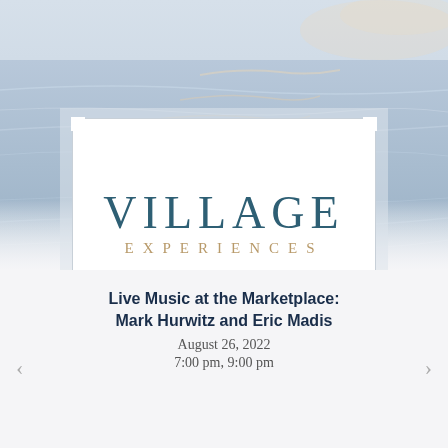[Figure (photo): Soft-focus water surface with gentle ripples reflecting pale blue and warm light tones]
[Figure (logo): Village Experiences logo in a white card with decorative border and notched corners. 'VILLAGE' in large teal serif letters, 'EXPERIENCES' in smaller gold spaced capitals below.]
Live Music at the Marketplace: Mark Hurwitz and Eric Madis
August 26, 2022
7:00 pm, 9:00 pm